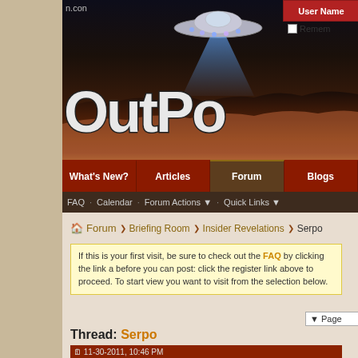[Figure (screenshot): Website header banner for OutPost forum with space/sci-fi theme showing UFO spacecraft, light beam, and rocky terrain background]
n.con
User Name
Remem
What's New?   Articles   Forum   Blogs
FAQ   Calendar   Forum Actions ▼   Quick Links ▼
Forum  ❯  Briefing Room  ❯  Insider Revelations  ❯  Serpo
If this is your first visit, be sure to check out the FAQ by clicking the link a... before you can post: click the register link above to proceed. To start view... you want to visit from the selection below.
▼ Page
Thread: Serpo
11-30-2011, 10:46 PM